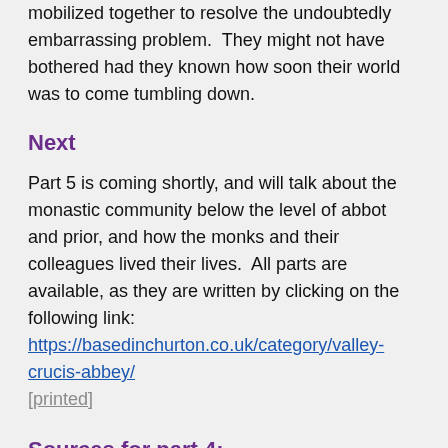mobilized together to resolve the undoubtedly embarrassing problem.  They might not have bothered had they known how soon their world was to come tumbling down.
Next
Part 5 is coming shortly, and will talk about the monastic community below the level of abbot and prior, and how the monks and their colleagues lived their lives.  All parts are available, as they are written by clicking on the following link: https://basedinchurton.co.uk/category/valley-crucis-abbey/ [printed]
Sources for part 4:
Tying in various bits of data would have been a lot more difficult without the excellent Monastic Wales website, a brilliant resource for all monastic establishments in Wales, which lists a number of abbot names mentioned in